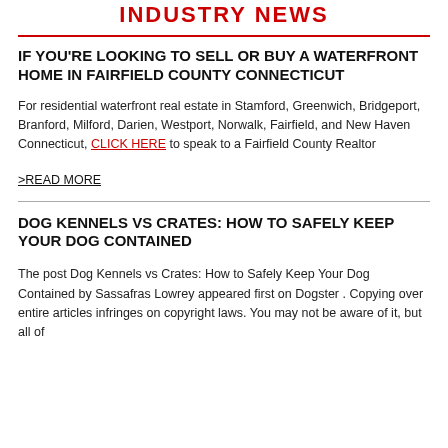INDUSTRY NEWS
IF YOU'RE LOOKING TO SELL OR BUY A WATERFRONT HOME IN FAIRFIELD COUNTY CONNECTICUT
For residential waterfront real estate in Stamford, Greenwich, Bridgeport, Branford, Milford, Darien, Westport, Norwalk, Fairfield, and New Haven Connecticut, CLICK HERE to speak to a Fairfield County Realtor
>READ MORE
DOG KENNELS VS CRATES: HOW TO SAFELY KEEP YOUR DOG CONTAINED
The post Dog Kennels vs Crates: How to Safely Keep Your Dog Contained by Sassafras Lowrey appeared first on Dogster . Copying over entire articles infringes on copyright laws. You may not be aware of it, but all of